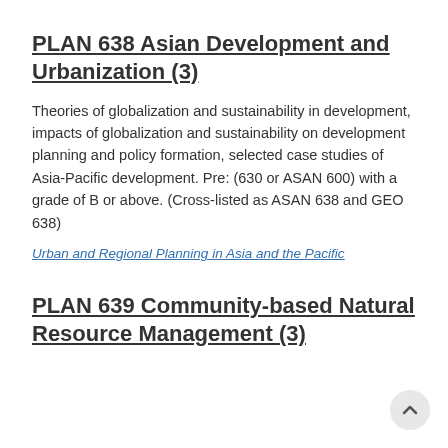PLAN 638 Asian Development and Urbanization (3)
Theories of globalization and sustainability in development, impacts of globalization and sustainability on development planning and policy formation, selected case studies of Asia-Pacific development. Pre: (630 or ASAN 600) with a grade of B or above. (Cross-listed as ASAN 638 and GEO 638)
Urban and Regional Planning in Asia and the Pacific
PLAN 639 Community-based Natural Resource Management (3)